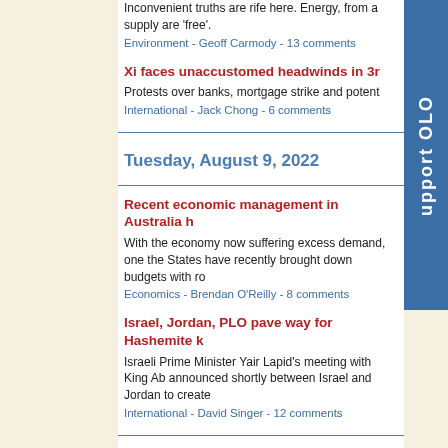Inconvenient truths are rife here. Energy, from a supply are 'free'.
Environment - Geoff Carmody - 13 comments
Xi faces unaccustomed headwinds in 3r
Protests over banks, mortgage strike and potent
International - Jack Chong - 6 comments
Tuesday, August 9, 2022
Recent economic management in Australia h
With the economy now suffering excess demand, one the States have recently brought down budgets with ro
Economics - Brendan O'Reilly - 8 comments
Israel, Jordan, PLO pave way for Hashemite k
Israeli Prime Minister Yair Lapid's meeting with King Ab announced shortly between Israel and Jordan to create
International - David Singer - 12 comments
Monday, August 8, 2022
Why the RBA will raise the cash rate to 3.5%
Over recent weeks, a few people have asked me: Is th